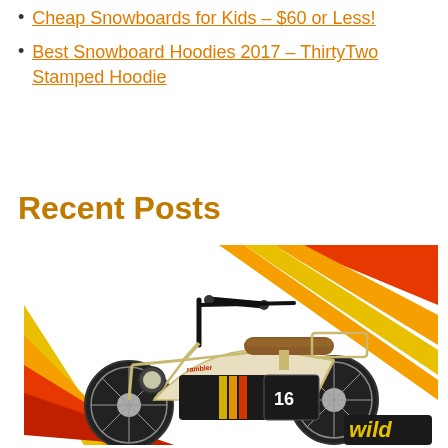Cheap Snowboards for Kids – $60 or Less!
Best Snowboard Hoodies 2017 – ThirtyTwo Stamped Hoodie
Recent Posts
[Figure (photo): A retro-styled cream/beige electric mini bike (Razor Rambler 16) with fat tires, brown seat, black handlebars, a headlight, and a retro striped graphic on the frame and background featuring diagonal red, orange, and yellow stripes. The Wild logo is visible at the bottom right.]